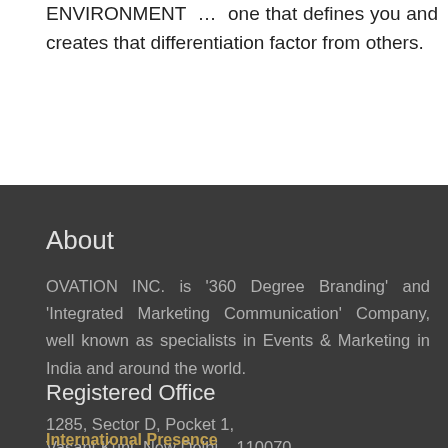ENVIRONMENT … one that defines you and creates that differentiation factor from others.
About
OVATION INC. is '360 Degree Branding' and 'Integrated Marketing Communication' Company, well known as specialists in Events & Marketing in India and around the world.
Registered Office
1285, Sector D, Pocket 1,
Vasant Kunj, New Delhi – 110070.
International Presence